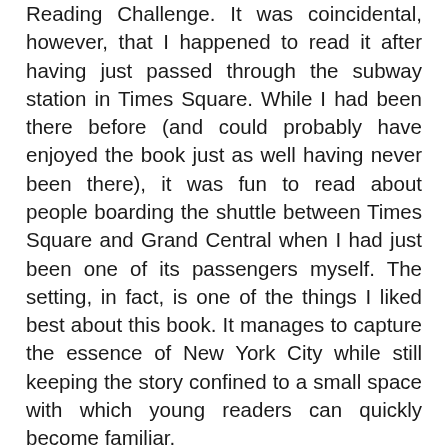Reading Challenge. It was coincidental, however, that I happened to read it after having just passed through the subway station in Times Square. While I had been there before (and could probably have enjoyed the book just as well having never been there), it was fun to read about people boarding the shuttle between Times Square and Grand Central when I had just been one of its passengers myself. The setting, in fact, is one of the things I liked best about this book. It manages to capture the essence of New York City while still keeping the story confined to a small space with which young readers can quickly become familiar.
The characters are also endearing. I felt similarly about them as I did about the household pets in Bunnicula, but I liked Tucker, Harry, and Chester even better. Though it does bother me sometimes when animals who are enemies in nature become friends in children's books, the story explains Tucker and Harry well enough that it isn't a problem. I also love that Chester's special talent is really just an extension of a natural ability that all crickets have. He's not so much a magical cricket, as a gifted one, and I like that approach to the fantastical elements of this story very much. I always do